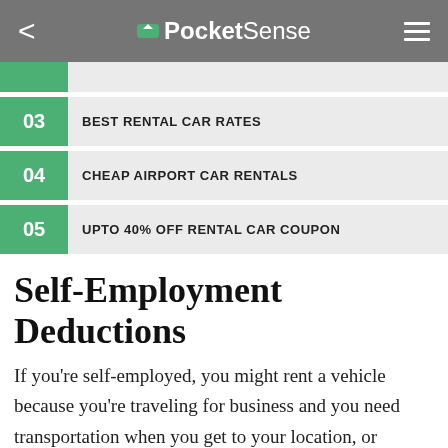PocketSense
03  BEST RENTAL CAR RATES
04  CHEAP AIRPORT CAR RENTALS
05  UPTO 40% OFF RENTAL CAR COUPON
Self-Employment Deductions
If you're self-employed, you might rent a vehicle because you're traveling for business and you need transportation when you get to your location, or because your own